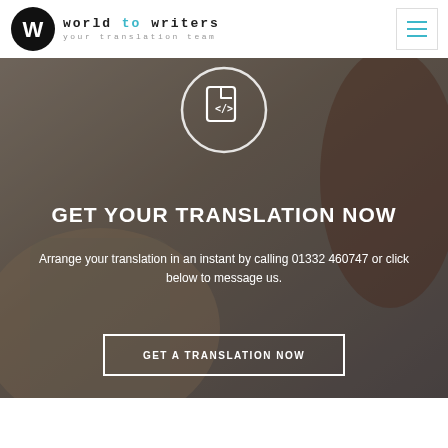world to writers — your translation team
[Figure (screenshot): Hero image of a person using a smartphone, overlaid with a code/document icon in a circle, headline text, subtext, and a CTA button.]
GET YOUR TRANSLATION NOW
Arrange your translation in an instant by calling 01332 460747 or click below to message us.
GET A TRANSLATION NOW